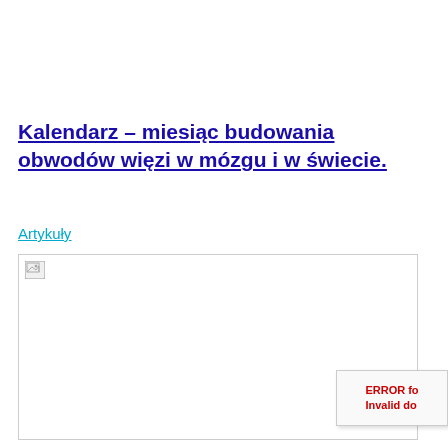Kalendarz – miesiąc budowania obwodów więzi w mózgu i w świecie.
Artykuły
[Figure (photo): Broken image placeholder with small document icon in the top-left corner of a white bordered rectangle]
ERROR fo
Invalid do